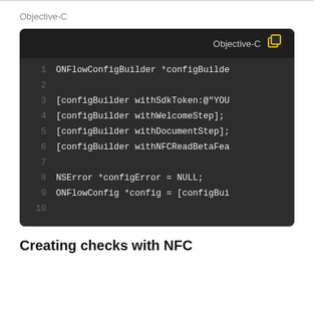Objective-C
[Figure (screenshot): Code block showing Objective-C code snippet with line numbers 1-10. Lines: 1: ONFlowConfigBuilder *configBuilde, 2: (empty), 3: [configBuilder withSdkToken:@"YOU, 4: [configBuilder withWelcomeStep];, 5: [configBuilder withDocumentStep];, 6: [configBuilder withNFCReadBetaFea, 7: (empty), 8: NSError *configError = NULL;, 9: ONFlowConfig *config = [configBui, 10: (empty). Header shows 'Objective-C' label and copy icon.]
Creating checks with NFC